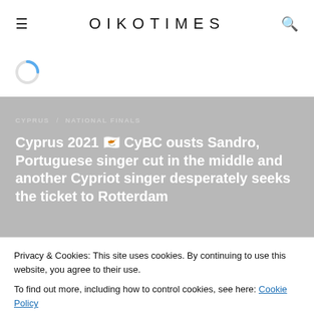OIKOTIMES
[Figure (other): Loading spinner icon (blue arc circle)]
[Figure (other): Hero image area with gray background]
CYPRUS / NATIONAL FINALS
Cyprus 2021 🇨🇾 CyBC ousts Sandro, Portuguese singer cut in the middle and another Cypriot singer desperately seeks the ticket to Rotterdam
Privacy & Cookies: This site uses cookies. By continuing to use this website, you agree to their use.
To find out more, including how to control cookies, see here: Cookie Policy
Close and accept